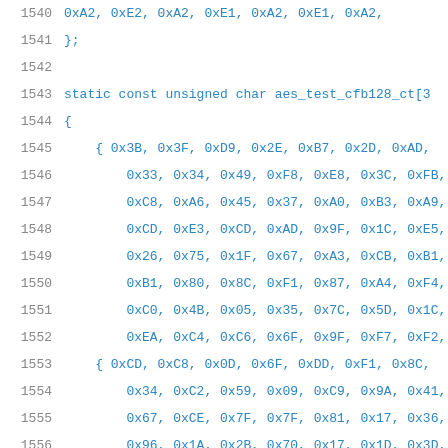1540    0xA2, 0xE2, 0xA2, 0xE1, 0xA2, 0xE1, 0xA2,
1541    };
1542
1543    static const unsigned char aes_test_cfb128_ct[3
1544    {
1545        { 0x3B, 0x3F, 0xD9, 0x2E, 0xB7, 0x2D, 0xAD,
1546            0x33, 0x34, 0x49, 0xF8, 0xE8, 0x3C, 0xFB,
1547            0xC8, 0xA6, 0x45, 0x37, 0xA0, 0xB3, 0xA9,
1548            0xCD, 0xE3, 0xCD, 0xAD, 0x9F, 0x1C, 0xE5,
1549            0x26, 0x75, 0x1F, 0x67, 0xA3, 0xCB, 0xB1,
1550            0xB1, 0x80, 0x8C, 0xF1, 0x87, 0xA4, 0xF4,
1551            0xC0, 0x4B, 0x05, 0x35, 0x7C, 0x5D, 0x1C,
1552            0xEA, 0xC4, 0xC6, 0x6F, 0x9F, 0xF7, 0xF2,
1553        { 0xCD, 0xC8, 0x0D, 0x6F, 0xDD, 0xF1, 0x8C,
1554            0x34, 0xC2, 0x59, 0x09, 0xC9, 0x9A, 0x41,
1555            0x67, 0xCE, 0x7F, 0x7F, 0x81, 0x17, 0x36,
1556            0x96, 0x1A, 0x2B, 0x70, 0x17, 0x1D, 0x3D,
1557            0x2E, 0x1E, 0x8A, 0x1D, 0xD5, 0x9B, 0x88,
1558            0xC8, 0xE6, 0x0F, 0xED, 0x1E, 0xFA, 0xC4,
1559            0xC0, 0x5F, 0x9F, 0x9C, 0xA9, 0x83, 0x4F,
1560            0x42, 0xAE, 0x8F, 0xBA, 0x58, 0x4B, 0x09,
1561        { 0xDC, 0x7E, 0x84, 0xBF, 0xDA, 0x79, 0x16,